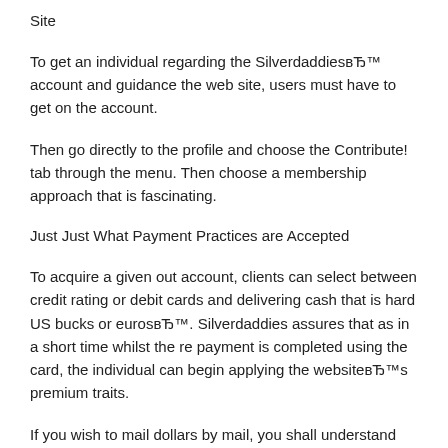Site
To get an individual regarding the SilverdaddiesвЂ™ account and guidance the web site, users must have to get on the account.
Then go directly to the profile and choose the Contribute! tab through the menu. Then choose a membership approach that is fascinating.
Just Just What Payment Practices are Accepted
To acquire a given out account, clients can select between credit rating or debit cards and delivering cash that is hard US bucks or eurosвЂ™. Silverdaddies assures that as in a short time whilst the re payment is completed using the card, the individual can begin applying the websiteвЂ™s premium traits.
If you wish to mail dollars by mail, you shall understand tackle whenever you log on to the web site and go right to the